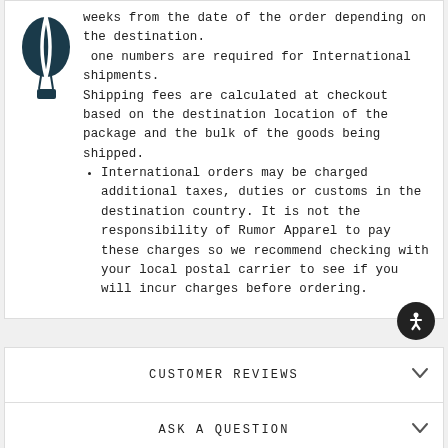weeks from the date of the order depending on the destination. one numbers are required for International shipments. Shipping fees are calculated at checkout based on the destination location of the package and the bulk of the goods being shipped.
International orders may be charged additional taxes, duties or customs in the destination country. It is not the responsibility of Rumor Apparel to pay these charges so we recommend checking with your local postal carrier to see if you will incur charges before ordering.
CUSTOMER REVIEWS
ASK A QUESTION
REVIEWS